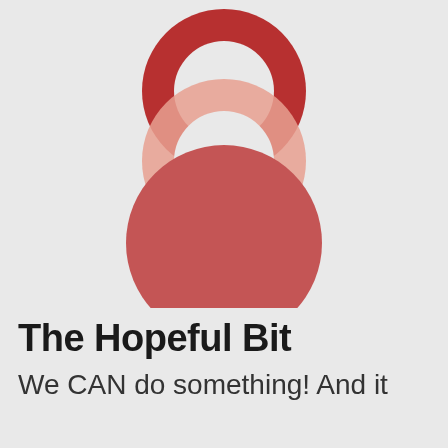[Figure (logo): The Hopeful Bit logo: two overlapping ring shapes at the top (dark red/crimson ring behind a lighter salmon/pink ring) and a large solid dark salmon/red circle below, forming an abstract figure-8 or kettle-bell-like shape]
The Hopeful Bit
We CAN do something! And it